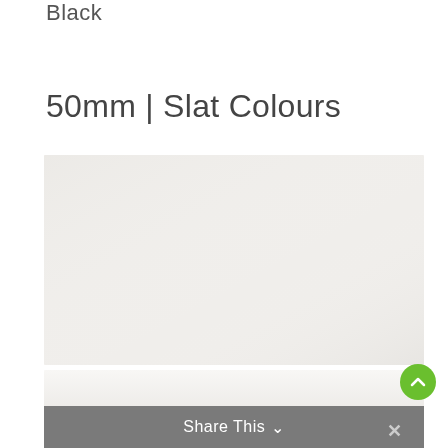Black
50mm | Slat Colours
[Figure (photo): A light-coloured, nearly white slat colour swatch sample image for 50mm blinds, showing a very pale off-white/white texture.]
Share This ∨